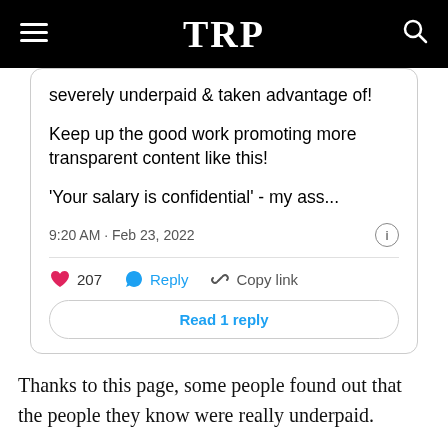TRP
[Figure (screenshot): Tweet card showing text: 'severely underpaid & taken advantage of! Keep up the good work promoting more transparent content like this! \'Your salary is confidential\' - my ass...' with timestamp 9:20 AM · Feb 23, 2022, 207 likes, Reply, Copy link, Read 1 reply button]
Thanks to this page, some people found out that the people they know were really underpaid.
Another netizen suggested employers share their